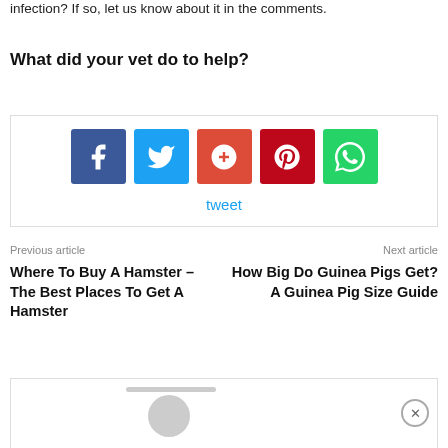infection? If so, let us know about it in the comments.
What did your vet do to help?
[Figure (other): Social share buttons: Facebook (blue), Twitter (cyan), Google+ (orange-red), Pinterest (dark red), WhatsApp (green), plus a tweet link below]
tweet
Previous article
Next article
Where To Buy A Hamster – The Best Places To Get A Hamster
How Big Do Guinea Pigs Get? A Guinea Pig Size Guide
[Figure (other): Bottom content box with avatar circle and close button]